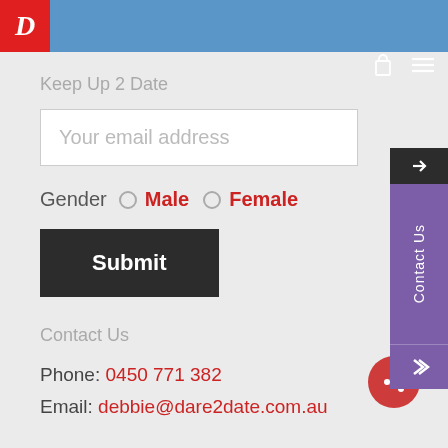[Figure (logo): Red box with white italic cursive D letter - Dare2Date logo]
Keep Up 2 Date
Your email address
Gender  Male  Female
Submit
Contact Us
Phone: 0450 771 382
Email: debbie@dare2date.com.au